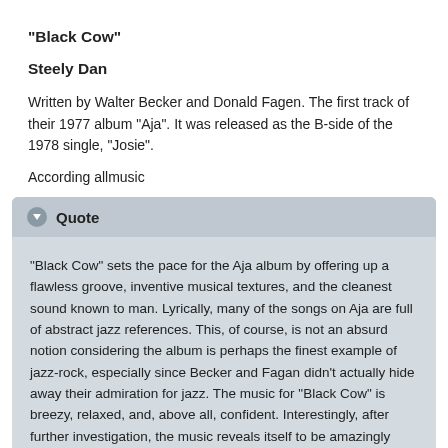"Black Cow"
Steely Dan
Written by Walter Becker and Donald Fagen. The first track of their 1977 album "Aja". It was released as the B-side of the 1978 single, "Josie".
According allmusic
"Black Cow" sets the pace for the Aja album by offering up a flawless groove, inventive musical textures, and the cleanest sound known to man. Lyrically, many of the songs on Aja are full of abstract jazz references. This, of course, is not an absurd notion considering the album is perhaps the finest example of jazz-rock, especially since Becker and Fagan didn't actually hide away their admiration for jazz. The music for "Black Cow" is breezy, relaxed, and, above all, confident. Interestingly, after further investigation, the music reveals itself to be amazingly complex. Starting with